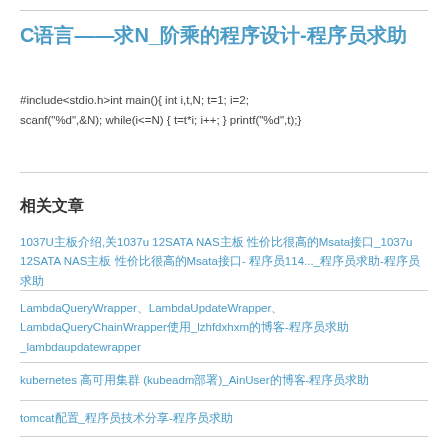C语言——求N_阶乘的程序设计-程序员求助
#include&lt;stdio.h&gt;int main(){ int i,t,N; t=1; i=2; scanf("%d",&amp;N); while(i&lt;=N) { t=t*i; i++; } printf("%d",t);}
相关文章
1037U主板介绍,关1037u 12SATA NAS主板 性价比很高的Msata接口_1037u 12SATA NAS主板 性价比很高的Msata接口- 程序员114..._程序员求助-程序员求助
LambdaQueryWrapper、LambdaUpdateWrapper、LambdaQueryChainWrapper使用_lzhfdxhxm的博客-程序员求助_lambdaupdatewrapper
kubernetes 高可用集群 (kubeadm部署)_AinUser的博客-程序员求助
tomcat配置_程序员技术分享-程序员求助